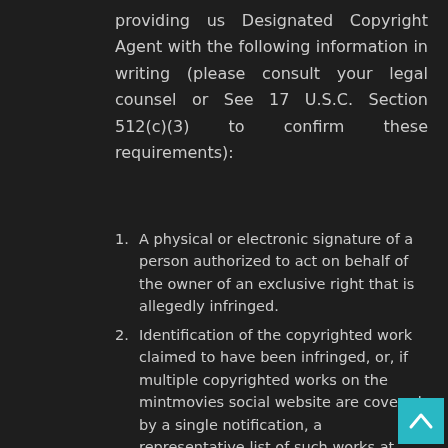providing us Designated Copyright Agent with the following information in writing (please consult your legal counsel or See 17 U.S.C. Section 512(c)(3) to confirm these requirements):
A physical or electronic signature of a person authorized to act on behalf of the owner of an exclusive right that is allegedly infringed.
Identification of the copyrighted work claimed to have been infringed, or, if multiple copyrighted works on the mintmovies social website are covered by a single notification, a representative list of such works at that website.
Identification of the material that is claimed to be infringing or to